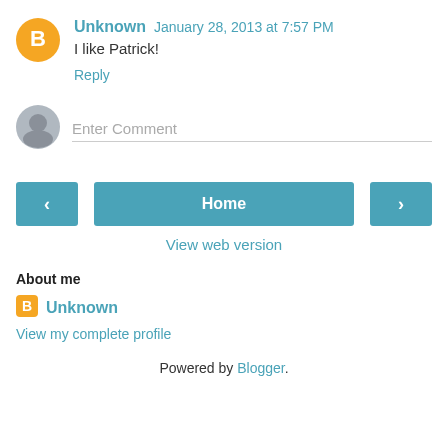[Figure (illustration): Orange circular Blogger avatar icon with white 'B' letter]
Unknown January 28, 2013 at 7:57 PM
I like Patrick!
Reply
[Figure (illustration): Gray circular default user avatar icon]
Enter Comment
[Figure (other): Navigation buttons: left arrow, Home, right arrow]
View web version
About me
[Figure (logo): Small orange Blogger icon]
Unknown
View my complete profile
Powered by Blogger.